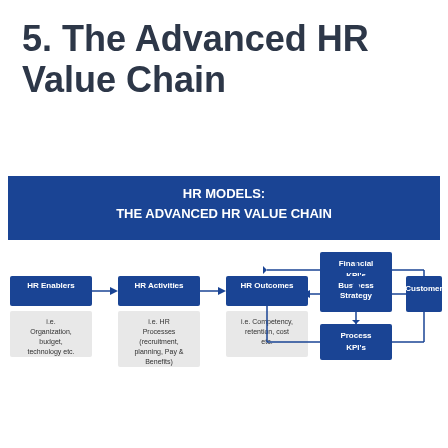5. The Advanced HR Value Chain
[Figure (flowchart): HR Models: The Advanced HR Value Chain flowchart showing HR Enablers → HR Activities → HR Outcomes ← Business Strategy (which connects to Financial KPI's above and Process KPI's below, and Customer to the right)]